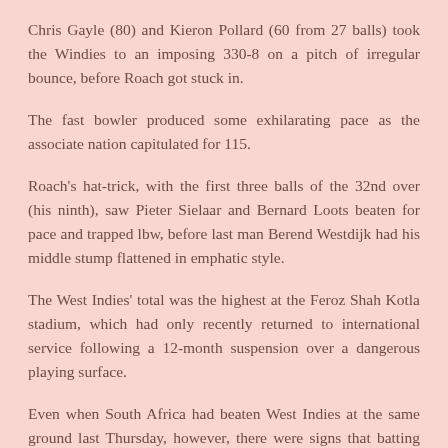Chris Gayle (80) and Kieron Pollard (60 from 27 balls) took the Windies to an imposing 330-8 on a pitch of irregular bounce, before Roach got stuck in.
The fast bowler produced some exhilarating pace as the associate nation capitulated for 115.
Roach's hat-trick, with the first three balls of the 32nd over (his ninth), saw Pieter Sielaar and Bernard Loots beaten for pace and trapped lbw, before last man Berend Westdijk had his middle stump flattened in emphatic style.
The West Indies' total was the highest at the Feroz Shah Kotla stadium, which had only recently returned to international service following a 12-month suspension over a dangerous playing surface.
Even when South Africa had beaten West Indies at the same ground last Thursday, however, there were signs that batting remained a tough proposition.